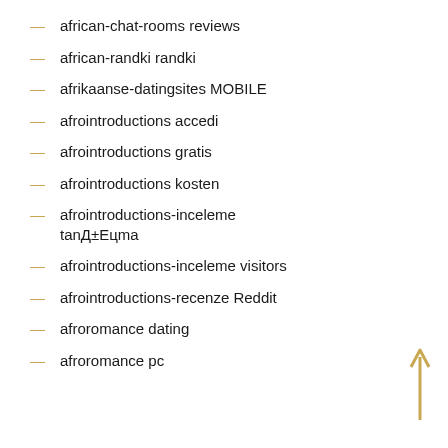african-chat-rooms reviews
african-randki randki
afrikaanse-datingsites MOBILE
afrointroductions accedi
afrointroductions gratis
afrointroductions kosten
afrointroductions-inceleme tanД±Eцma
afrointroductions-inceleme visitors
afrointroductions-recenze Reddit
afroromance dating
afroromance pc